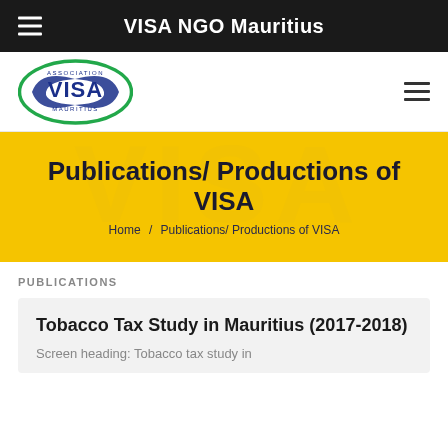VISA NGO Mauritius
[Figure (logo): VISA Association Mauritius oval logo with green oval border and blue VISA text]
Publications/ Productions of VISA
Home / Publications/ Productions of VISA
PUBLICATIONS
Tobacco Tax Study in Mauritius (2017-2018)
Screen heading: Tobacco tax study in